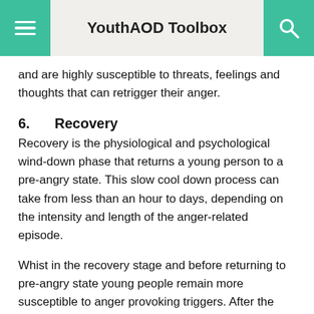YouthAOD Toolbox
and are highly susceptible to threats, feelings and thoughts that can retrigger their anger.
6.       Recovery
Recovery is the physiological and psychological wind-down phase that returns a young person to a pre-angry state. This slow cool down process can take from less than an hour to days, depending on the intensity and length of the anger-related episode.
Whist in the recovery stage and before returning to pre-angry state young people remain more susceptible to anger provoking triggers. After the feeling of relief has begun to subside, the young